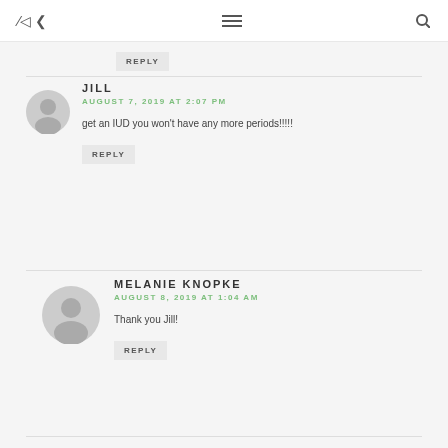share | menu | search
REPLY
JILL
AUGUST 7, 2019 AT 2:07 PM
get an IUD you won't have any more periods!!!!!
REPLY
MELANIE KNOPKE
AUGUST 8, 2019 AT 1:04 AM
Thank you Jill!
REPLY